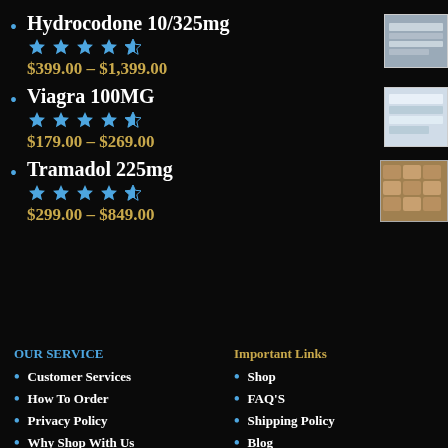Hydrocodone 10/325mg — $399.00 – $1,399.00
Viagra 100MG — $179.00 – $269.00
Tramadol 225mg — $299.00 – $849.00
OUR SERVICE
Important Links
Customer Services
Shop
How To Order
FAQ'S
Privacy Policy
Shipping Policy
Why Shop With Us
Blog